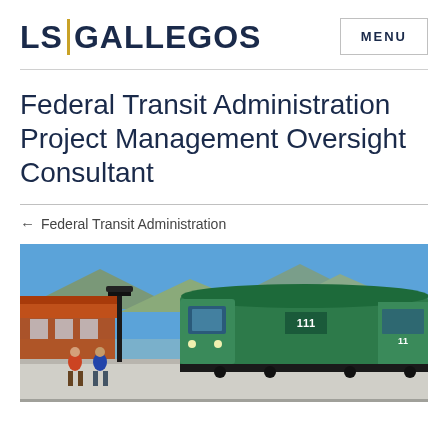LS|GALLEGOS  MENU
Federal Transit Administration Project Management Oversight Consultant
← Federal Transit Administration
[Figure (photo): A green passenger train at a transit station platform with a blue sky, mountains in the background, station buildings with red roof awnings on the left, a black lamp post, and people on the platform.]